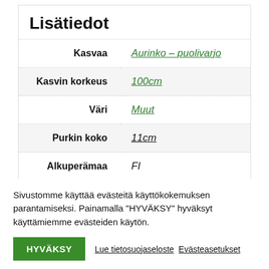Lisätiedot
| Label | Value |
| --- | --- |
| Kasvaa | Aurinko – puolivarjo |
| Kasvin korkeus | 100cm |
| Väri | Muut |
| Purkin koko | 11cm |
| Alkuperämaa | FI |
Sivustomme käyttää evästeitä käyttökokemuksen parantamiseksi. Painamalla "HYVÄKSY" hyväksyt käyttämiemme evästeiden käytön.
HYVÄKSY
Lue tietosuojaseloste  Evästeasetukset